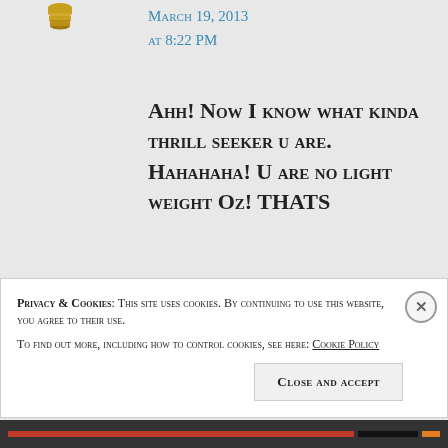[Figure (illustration): Small avatar/icon image of a cartoon character (stack of coins or trophy figure)]
March 19, 2013 at 8:22 PM
Ahh! Now I know what kinda thrill seeker u are. Hahahaha! U are no light weight Oz! THATS
Privacy & Cookies: This site uses cookies. By continuing to use this website, you agree to their use.
To find out more, including how to control cookies, see here: Cookie Policy
Close and accept